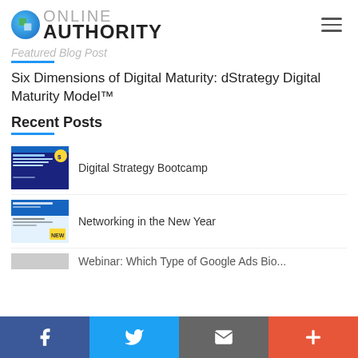Online Authority
Featured Blog Post
Six Dimensions of Digital Maturity: dStrategy Digital Maturity Model™
Recent Posts
Digital Strategy Bootcamp
Networking in the New Year
Webinar: Which Type of Google Ads Bio...